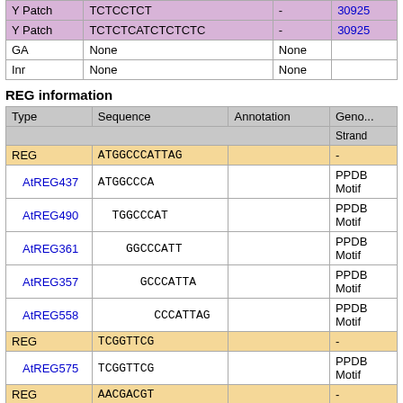| Type | Sequence | Annotation | Geno... |
| --- | --- | --- | --- |
| Y Patch | TCTCCTCT | - | 30925... |
| Y Patch | TCTCTCATCTCTCTC | - | 30925... |
| GA | None | None |  |
| Inr | None | None |  |
REG information
| Type | Sequence | Annotation | Geno... Strand |
| --- | --- | --- | --- |
| REG | ATGGCCCATTAG |  | - |
| AtREG437 | ATGGCCCA |  | PPDB Motif |
| AtREG490 | TGGCCCAT |  | PPDB Motif |
| AtREG361 | GGCCCATT |  | PPDB Motif |
| AtREG357 | GCCCATTA |  | PPDB Motif |
| AtREG558 | CCCATTAG |  | PPDB Motif |
| REG | TCGGTTCG |  | - |
| AtREG575 | TCGGTTCG |  | PPDB Motif |
| REG | AACGACGT |  | - |
| AtREG493 | AACGACGT |  | PPDB Motif |
| REG | ATTTGGGC |  |  |